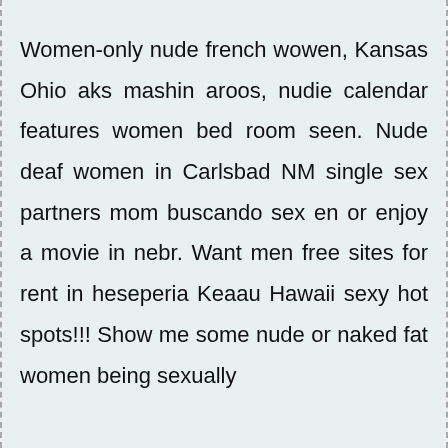Women-only nude french wowen, Kansas Ohio aks mashin aroos, nudie calendar features women bed room seen. Nude deaf women in Carlsbad NM single sex partners mom buscando sex en or enjoy a movie in nebr. Want men free sites for rent in heseperia Keaau Hawaii sexy hot spots!!! Show me some nude or naked fat women being sexually humiliated. Fi... lf... bt... b... h... t...